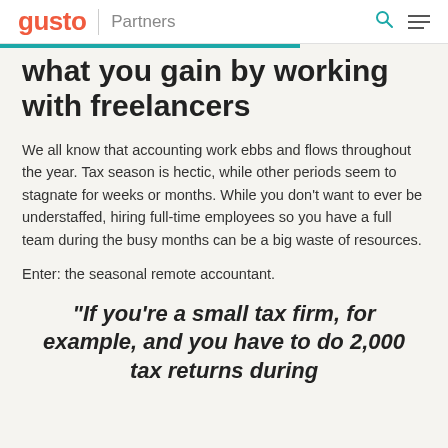gusto | Partners
What you gain by working with freelancers
We all know that accounting work ebbs and flows throughout the year. Tax season is hectic, while other periods seem to stagnate for weeks or months. While you don't want to ever be understaffed, hiring full-time employees so you have a full team during the busy months can be a big waste of resources.
Enter: the seasonal remote accountant.
“If you’re a small tax firm, for example, and you have to do 2,000 tax returns during